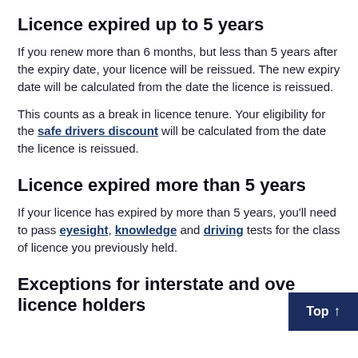Licence expired up to 5 years
If you renew more than 6 months, but less than 5 years after the expiry date, your licence will be reissued. The new expiry date will be calculated from the date the licence is reissued.
This counts as a break in licence tenure. Your eligibility for the safe drivers discount will be calculated from the date the licence is reissued.
Licence expired more than 5 years
If your licence has expired by more than 5 years, you'll need to pass eyesight, knowledge and driving tests for the class of licence you previously held.
Exceptions for interstate and overseas licence holders